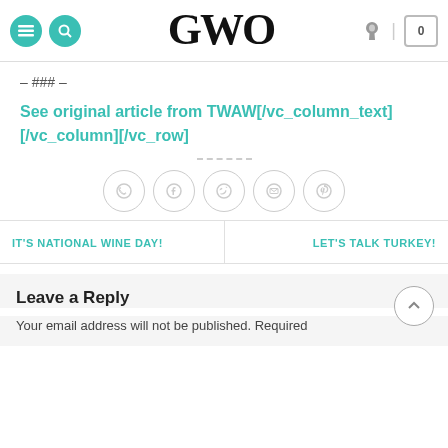GWO website header with menu, search, logo, user and cart icons
– ### –
See original article from TWAW[/vc_column_text][/vc_column][/vc_row]
[Figure (infographic): Horizontal divider and social sharing icons: WhatsApp, Facebook, Twitter, Email, Pinterest — all in grey circle outlines]
IT'S NATIONAL WINE DAY!
LET'S TALK TURKEY!
Leave a Reply
Your email address will not be published. Required